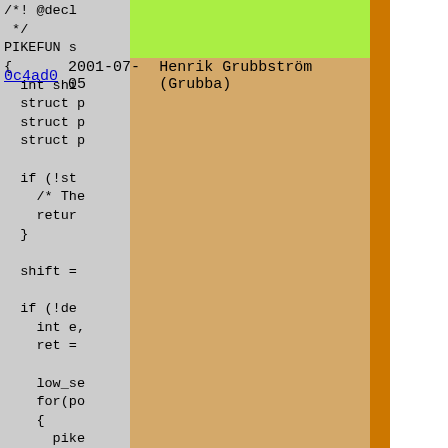0c4ad0  2001-07-05  Henrik Grubbström (Grubba)
/*! @decl
 */
PIKEFUN s
{
  int shi
  struct p
  struct p
  struct p

  if (!st
    /* The
    retur
  }

  shift =

  if (!de
    int e,
    ret =

    low_se
    for(po
    {
      pike
      pos-
      low_
    }
  } else 
    char 
    replac